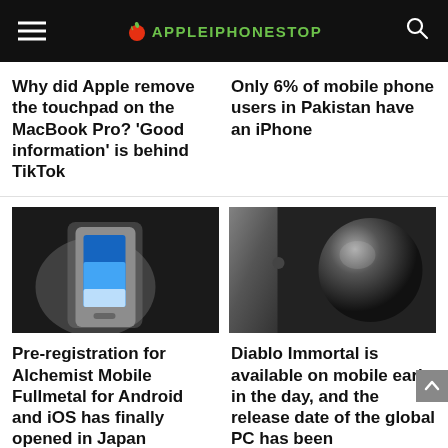APPLEIPHONESTOP
Why did Apple remove the touchpad on the MacBook Pro? ‘Good information’ is behind TikTok
Only 6% of mobile phone users in Pakistan have an iPhone
[Figure (photo): Hand holding a white Android smartphone against a dark background]
[Figure (photo): Dark Apple device (iPad/MacBook) next to a dark sphere on black background]
Pre-registration for Alchemist Mobile Fullmetal for Android and iOS has finally opened in Japan
Diablo Immortal is available on mobile early in the day, and the release date of the global PC has been